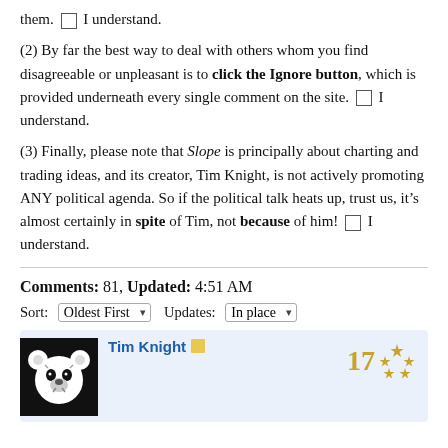them. [ ] I understand.
(2) By far the best way to deal with others whom you find disagreeable or unpleasant is to click the Ignore button, which is provided underneath every single comment on the site. [ ] I understand.
(3) Finally, please note that Slope is principally about charting and trading ideas, and its creator, Tim Knight, is not actively promoting ANY political agenda. So if the political talk heats up, trust us, it’s almost certainly in spite of Tim, not because of him! [ ] I understand.
Comments: 81, Updated: 4:51 AM
Sort: Oldest First  Updates: In place
Tim Knight